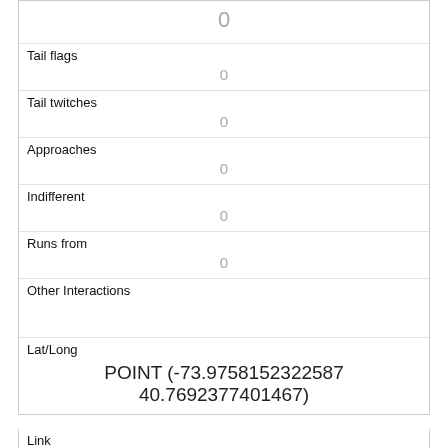| 0 |
| Tail flags | 0 |
| Tail twitches | 0 |
| Approaches | 0 |
| Indifferent | 0 |
| Runs from | 0 |
| Other Interactions |  |
| Lat/Long | POINT (-73.9758152322587 40.7692377401467) |
| Link | 682 |
| rowid | 682 |
| longitude |  |